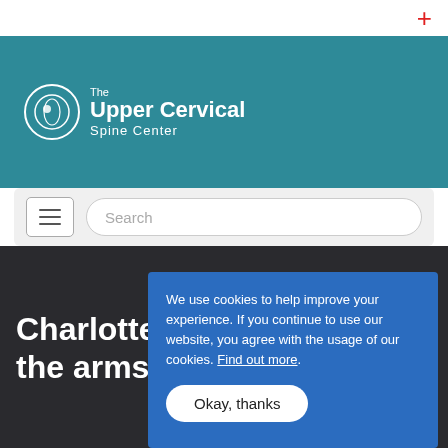[Figure (logo): The Upper Cervical Spine Center logo with circular emblem on teal background]
[Figure (screenshot): Navigation bar with hamburger menu button and search input field]
Charlotte ch... the arms
We use cookies to help improve your experience. If you continue to use our website, you agree with the usage of our cookies. Find out more.
Okay, thanks